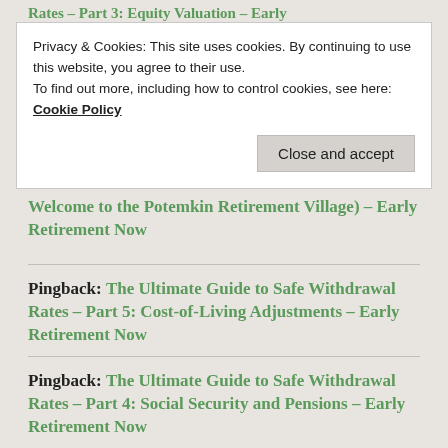Rates – Part 3: Equity Valuation – Early
Privacy & Cookies: This site uses cookies. By continuing to use this website, you agree to their use.
To find out more, including how to control cookies, see here: Cookie Policy
Close and accept
Welcome to the Potemkin Retirement Village) – Early Retirement Now
Pingback: The Ultimate Guide to Safe Withdrawal Rates – Part 5: Cost-of-Living Adjustments – Early Retirement Now
Pingback: The Ultimate Guide to Safe Withdrawal Rates – Part 4: Social Security and Pensions – Early Retirement Now